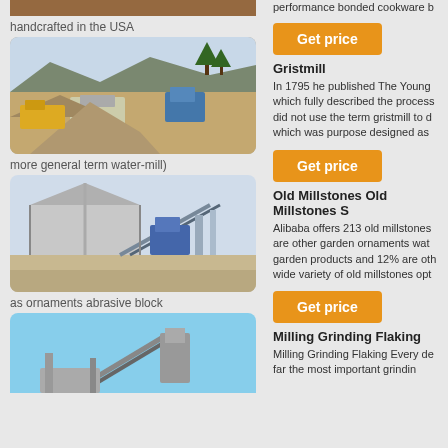[Figure (photo): Partial cropped image at top, brown/tan ground texture]
handcrafted in the USA
[Figure (photo): Outdoor quarry or mining site with trucks, equipment, gravel piles, and trees in background]
more general term water-mill)
[Figure (photo): Industrial facility with large shed, conveyor belts, blue machinery, and metal framework]
as ornaments abrasive block
[Figure (photo): Industrial conveyor or milling equipment against blue sky, partially cropped]
performance bonded cookware b
Get price
Gristmill
In 1795 he published The Young which fully described the process did not use the term gristmill to d which was purpose designed as
Get price
Old Millstones Old Millstones S
Alibaba offers 213 old millstones are other garden ornaments wat garden products and 12% are oth wide variety of old millstones opt
Get price
Milling Grinding Flaking
Milling Grinding Flaking Every de far the most important grindin